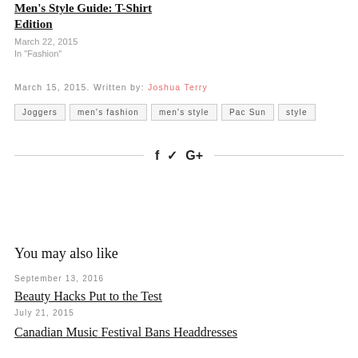Men's Style Guide: T-Shirt Edition
March 22, 2015
In "Fashion"
March 15, 2015. Written by: Joshua Terry
Joggers
men's fashion
men's style
Pac Sun
style
f  ✓  G+
| Previous Post | Next Post |
| --- | --- |
You may also like
September 13, 2016
Beauty Hacks Put to the Test
July 21, 2015
Canadian Music Festival Bans Headdresses